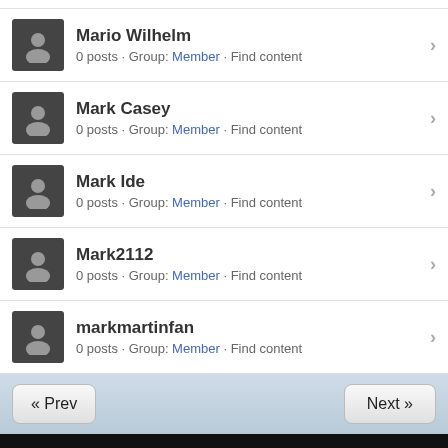Mario Wilhelm
0 posts · Group: Member · Find content
Mark Casey
0 posts · Group: Member · Find content
Mark Ide
0 posts · Group: Member · Find content
Mark2112
0 posts · Group: Member · Find content
markmartinfan
0 posts · Group: Member · Find content
« Prev   Next »
Get the IPS Communities App for iPhone now!
Full Version